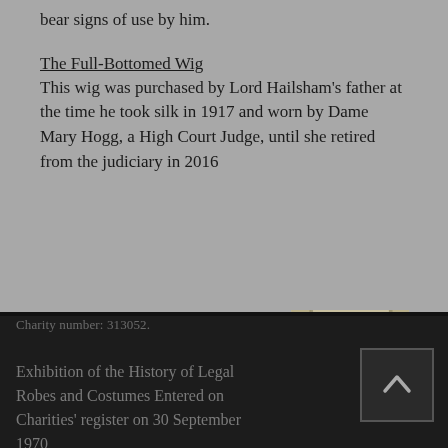bear signs of use by him.
The Full-Bottomed Wig
This wig was purchased by Lord Hailsham's father at the time he took silk in 1917 and worn by Dame Mary Hogg, a High Court Judge, until she retired from the judiciary in 2016
[Figure (photo): Three photographs showing legal robes and costumes on display in what appears to be a historic building interior with checkered floors and arched hallways.]
Charity number: 313052. Exhibition of the History of Legal Robes and Costumes Entered on Charities' register on 30 September 1970